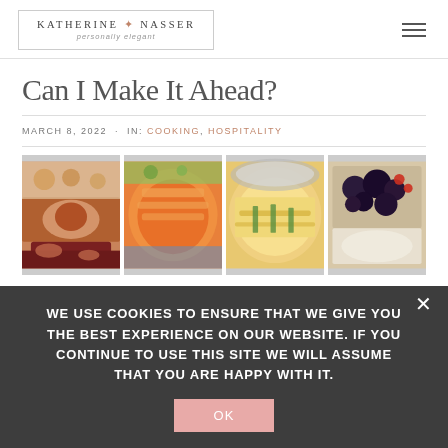KATHERINE NASSER | personally elegant
Can I Make It Ahead?
MARCH 8, 2022 · IN: COOKING, HOSPITALITY
[Figure (photo): Four food photos side by side: roast meat with vegetables, salmon with vegetables in orange sauce, egg casserole with herbs, and blackberries with cream.]
WE USE COOKIES TO ENSURE THAT WE GIVE YOU THE BEST EXPERIENCE ON OUR WEBSITE. IF YOU CONTINUE TO USE THIS SITE WE WILL ASSUME THAT YOU ARE HAPPY WITH IT.